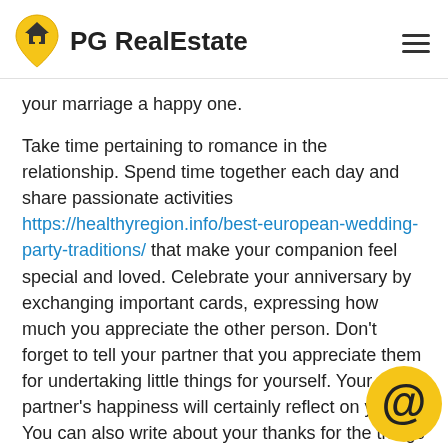PG RealEstate
your marriage a happy one.
Take time pertaining to romance in the relationship. Spend time together each day and share passionate activities https://healthyregion.info/best-european-wedding-party-traditions/ that make your companion feel special and loved. Celebrate your anniversary by exchanging important cards, expressing how much you appreciate the other person. Don't forget to tell your partner that you appreciate them for undertaking little things for yourself. Your partner's happiness will certainly reflect on you. You can also write about your thanks for the things in every area of your life that make your marriage special.